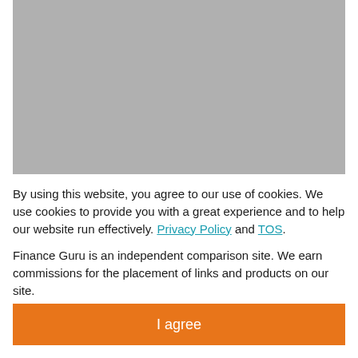[Figure (other): Gray placeholder image rectangle at the top of the page]
By using this website, you agree to our use of cookies. We use cookies to provide you with a great experience and to help our website run effectively. Privacy Policy and TOS.
Finance Guru is an independent comparison site. We earn commissions for the placement of links and products on our site.
I agree